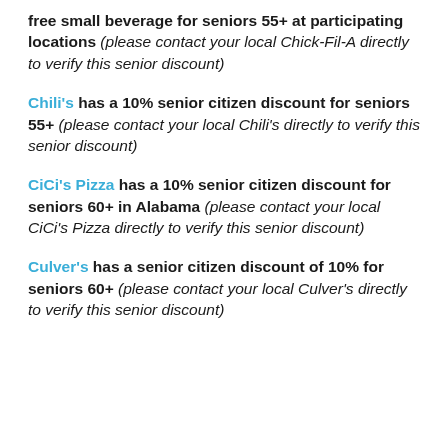free small beverage for seniors 55+ at participating locations (please contact your local Chick-Fil-A directly to verify this senior discount)
Chili's has a 10% senior citizen discount for seniors 55+ (please contact your local Chili's directly to verify this senior discount)
CiCi's Pizza has a 10% senior citizen discount for seniors 60+ in Alabama (please contact your local CiCi's Pizza directly to verify this senior discount)
Culver's has a senior citizen discount of 10% for seniors 60+ (please contact your local Culver's directly to verify this senior discount)